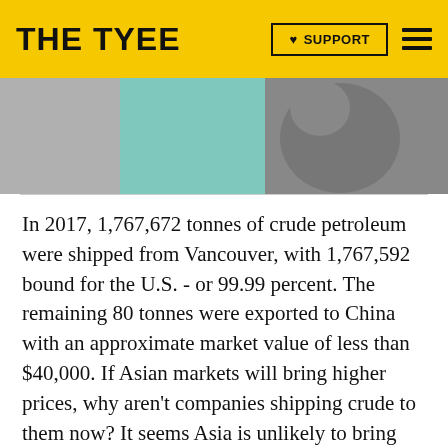THE TYEE | SUPPORT
[Figure (photo): Partial photo of a person with a lanyard, shown from neck down, against a teal background, cropped at the top of the page.]
In 2017, 1,767,672 tonnes of crude petroleum were shipped from Vancouver, with 1,767,592 bound for the U.S. - or 99.99 percent. The remaining 80 tonnes were exported to China with an approximate market value of less than $40,000. If Asian markets will bring higher prices, why aren't companies shipping crude to them now? It seems Asia is unlikely to bring billions in prosperity to Albertans anytime soon.
Equally illuminating was the inbound cargo figures from the United States. Last year the U.S. shipped